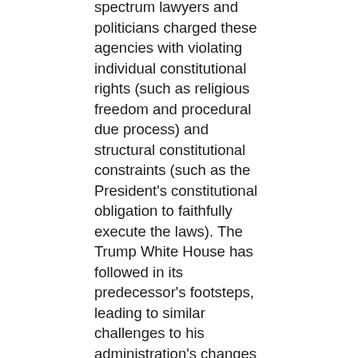spectrum lawyers and politicians charged these agencies with violating individual constitutional rights (such as religious freedom and procedural due process) and structural constitutional constraints (such as the President's constitutional obligation to faithfully execute the laws). The Trump White House has followed in its predecessor's footsteps, leading to similar challenges to his administration's changes to immigration, environmental, educational, and anti-discrimination policy.
Lurking behind these legal arguments is a bi-partisan anxiety about the constitutional status of the administrative state as a whole: the tangled web of agencies responsible for the vast majority of what the federal government does on a day-to-day basis. Despite their enormous power, federal agencies are barely mentioned in the Constitution's text. Yet they play a central role in the everyday interpretation and implementation of constitutional law. For instance, it was